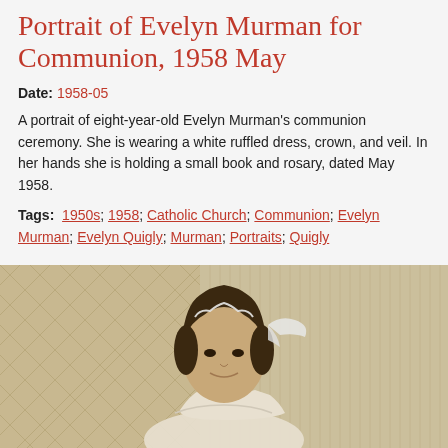Portrait of Evelyn Murman for Communion, 1958 May
Date: 1958-05
A portrait of eight-year-old Evelyn Murman's communion ceremony. She is wearing a white ruffled dress, crown, and veil. In her hands she is holding a small book and rosary, dated May 1958.
Tags: 1950s; 1958; Catholic Church; Communion; Evelyn Murman; Evelyn Quigly; Murman; Portraits; Quigly
[Figure (photo): Sepia-toned portrait photograph of a young girl (Evelyn Murman) in a white communion dress, crown and veil, smiling slightly, against a patterned background.]